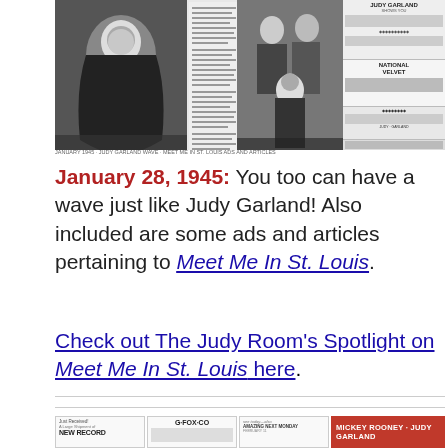[Figure (photo): Collage of newspaper clippings and photos related to Judy Garland from January 1945, including a photo of a person in a hooded winter outfit, text columns, group photos, and movie advertisement columns for National Velvet and Judy Garland.]
January 28, 1945:  You too can have a wave just like Judy Garland!  Also included are some ads and articles pertaining to Meet Me In St. Louis.
Check out The Judy Room's Spotlight on Meet Me In St. Louis here.
[Figure (photo): Bottom collage of newspaper advertisements and clippings including a 'Just Received! A Large Shipment of NEW RECORD' ad, G. Fox & Co. ad, another clipping, and a Mickey Rooney & Judy Garland movie advertisement on a red background.]